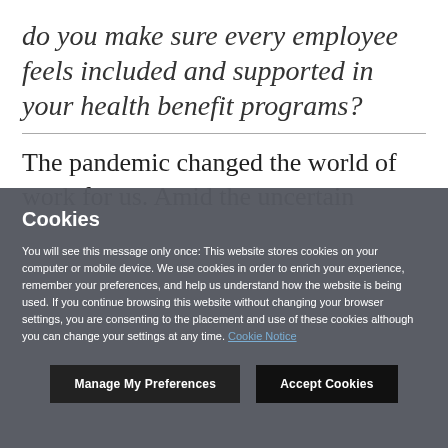do you make sure every employee feels included and supported in your health benefit programs?
The pandemic changed the world of work for us. Amid the uncertain...
Cookies
You will see this message only once: This website stores cookies on your computer or mobile device. We use cookies in order to enrich your experience, remember your preferences, and help us understand how the website is being used. If you continue browsing this website without changing your browser settings, you are consenting to the placement and use of these cookies although you can change your settings at any time. Cookie Notice
Manage My Preferences
Accept Cookies